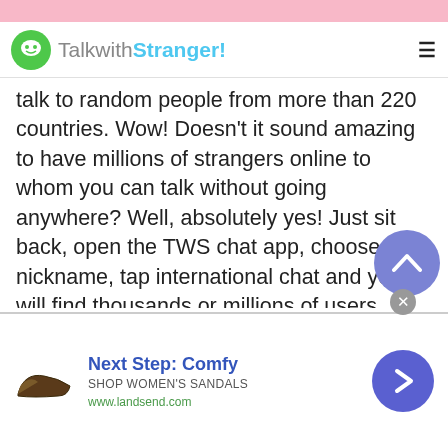[Figure (screenshot): TalkwithStranger website header with logo and hamburger menu on white navbar, with pink banner strip at top]
talk to random people from more than 220 countries. Wow! Doesn't it sound amazing to have millions of strangers online to whom you can talk without going anywhere? Well, absolutely yes! Just sit back, open the TWS chat app, choose a nickname, tap international chat and you will find thousands or millions of users online.
Joining TWS international chat rooms will do wonders for you. You can not only learn new things but also get rid of depression. Yes, once you start talking to strangers in Kyrgyzstan and sharing your
[Figure (screenshot): Advertisement banner: Next Step: Comfy - Shop Women's Sandals - www.landsend.com with shoe icon and navigation arrow button]